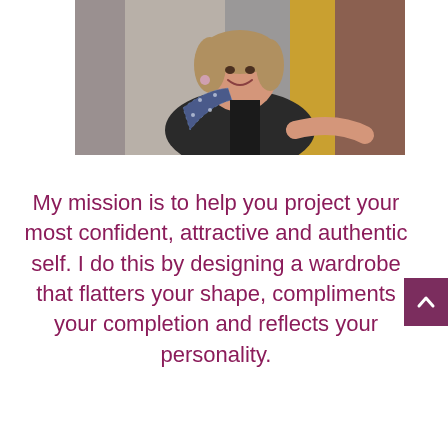[Figure (photo): A smiling woman with short curly hair wearing a black top and a floral/patterned blue and white scarf/vest, standing in front of a clothing rack with colorful garments.]
My mission is to help you project your most confident, attractive and authentic self. I do this by designing a wardrobe that flatters your shape, compliments your completion and reflects your personality.